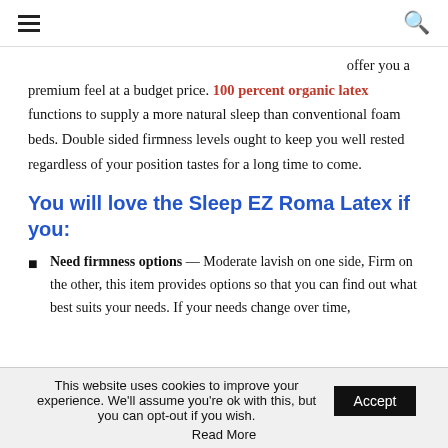≡  🔍
offer you a premium feel at a budget price. 100 percent organic latex functions to supply a more natural sleep than conventional foam beds. Double sided firmness levels ought to keep you well rested regardless of your position tastes for a long time to come.
You will love the Sleep EZ Roma Latex if you:
Need firmness options — Moderate lavish on one side, Firm on the other, this item provides options so that you can find out what best suits your needs. If your needs change over time,
This website uses cookies to improve your experience. We'll assume you're ok with this, but you can opt-out if you wish.
Read More